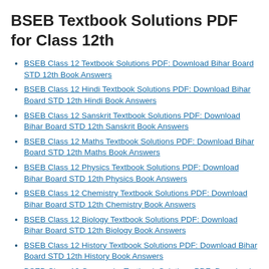BSEB Textbook Solutions PDF for Class 12th
BSEB Class 12 Textbook Solutions PDF: Download Bihar Board STD 12th Book Answers
BSEB Class 12 Hindi Textbook Solutions PDF: Download Bihar Board STD 12th Hindi Book Answers
BSEB Class 12 Sanskrit Textbook Solutions PDF: Download Bihar Board STD 12th Sanskrit Book Answers
BSEB Class 12 Maths Textbook Solutions PDF: Download Bihar Board STD 12th Maths Book Answers
BSEB Class 12 Physics Textbook Solutions PDF: Download Bihar Board STD 12th Physics Book Answers
BSEB Class 12 Chemistry Textbook Solutions PDF: Download Bihar Board STD 12th Chemistry Book Answers
BSEB Class 12 Biology Textbook Solutions PDF: Download Bihar Board STD 12th Biology Book Answers
BSEB Class 12 History Textbook Solutions PDF: Download Bihar Board STD 12th History Book Answers
BSEB Class 12 Geography Textbook Solutions PDF: Download Bihar Board STD 12th Geography Book Answers